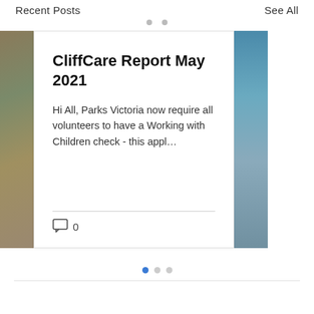Recent Posts
See All
CliffCare Report May 2021
Hi All, Parks Victoria now require all volunteers to have a Working with Children check - this appl…
0